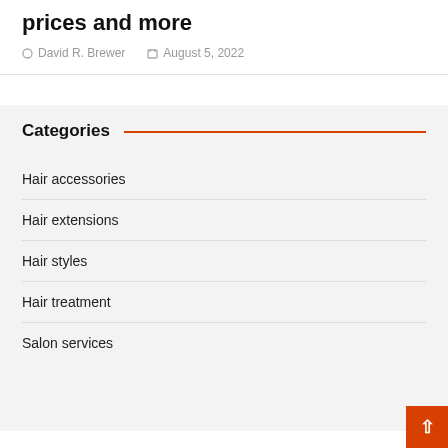prices and more
David R. Brewer   August 5, 2022
Categories
Hair accessories
Hair extensions
Hair styles
Hair treatment
Salon services